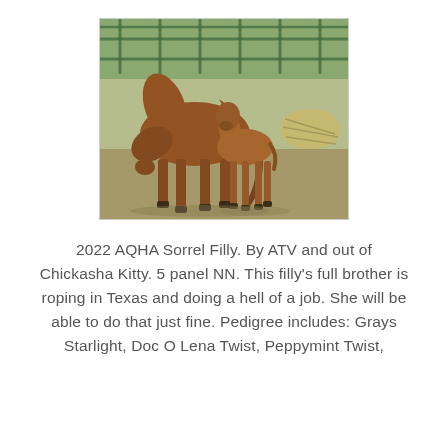[Figure (photo): A chestnut/sorrel mare with a young foal standing beside her in a dirt paddock with a green metal fence in the background.]
2022 AQHA Sorrel Filly. By ATV and out of Chickasha Kitty. 5 panel NN. This filly's full brother is roping in Texas and doing a hell of a job. She will be able to do that just fine. Pedigree includes: Grays Starlight, Doc O Lena Twist, Peppymint Twist,